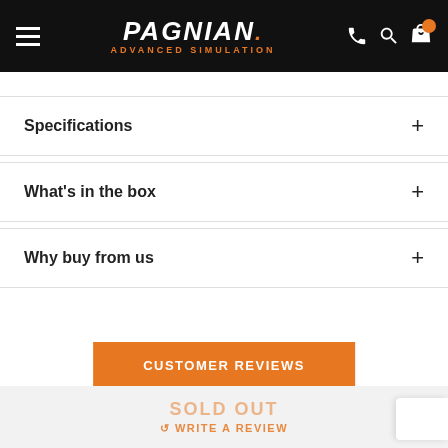PAGNIAN ADVANCED SIMULATION
Specifications
What's in the box
Why buy from us
CUSTOMER REVIEWS
SOLD OUT
WRITE A REVIEW